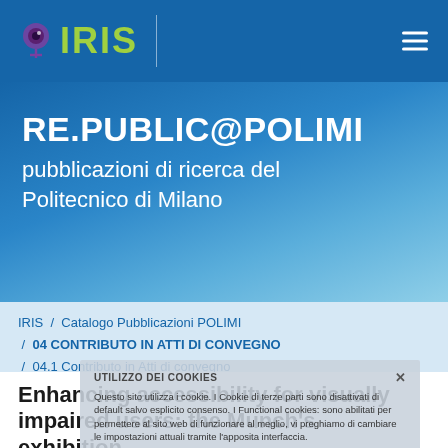IRIS
RE.PUBLIC@POLIMI
pubblicazioni di ricerca del Politecnico di Milano
IRIS / Catalogo Pubblicazioni POLIMI / 04 CONTRIBUTO IN ATTI DI CONVEGNO / 04.1 Contributo in Atti di convegno
Enhancing accessibility for visually impaired users: the Munch's exhibition
DI BLAS, NICOLETTA; PAOLINI, PAOLO;